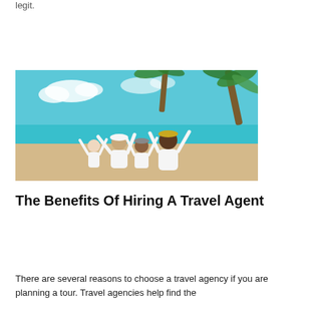legit.
[Figure (photo): A family of four sitting on a tropical beach with their arms raised, wearing white clothes and hats, with turquoise water and a palm tree in the background.]
The Benefits Of Hiring A Travel Agent
There are several reasons to choose a travel agency if you are planning a tour. Travel agencies help find the